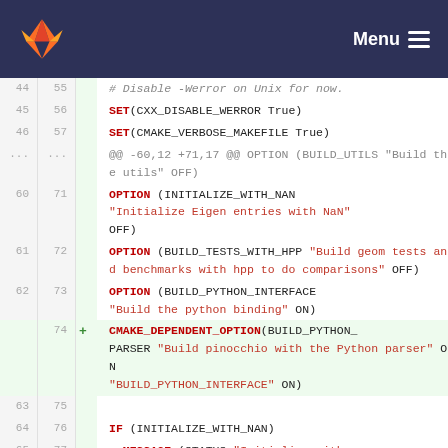[Figure (screenshot): GitLab navigation bar with orange/red fox logo on the left and Menu button with hamburger icon on the right, dark navy background]
Code diff view showing CMakeLists changes. Lines 44-65 (old) and 55-77 (new). Content includes SET commands, OPTION blocks, and a new CMAKE_DEPENDENT_OPTION line added (line 74+).